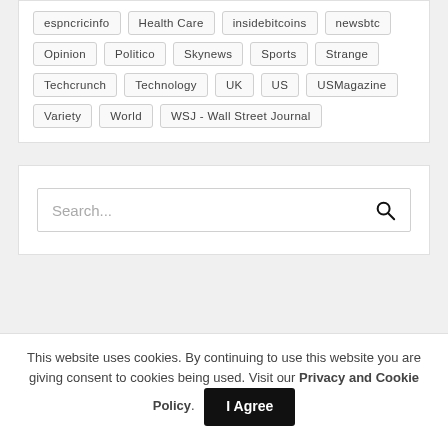espncricinfo, Health Care, insidebitcoins, newsbtc, Opinion, Politico, Skynews, Sports, Strange, Techcrunch, Technology, UK, US, USMagazine, Variety, World, WSJ - Wall Street Journal
Search...
This website uses cookies. By continuing to use this website you are giving consent to cookies being used. Visit our Privacy and Cookie Policy.